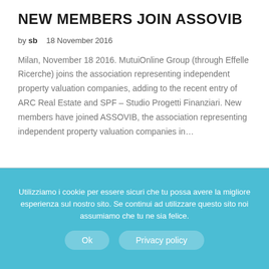NEW MEMBERS JOIN ASSOVIB
by sb    18 November 2016
Milan, November 18 2016. MutuiOnline Group (through Effelle Ricerche) joins the association representing independent property valuation companies, adding to the recent entry of ARC Real Estate and SPF – Studio Progetti Finanziari. New members have joined ASSOVIB, the association representing independent property valuation companies in…
Utilizziamo i cookie per essere sicuri che tu possa avere la migliore esperienza sul nostro sito. Se continui ad utilizzare questo sito noi assumiamo che tu ne sia felice.